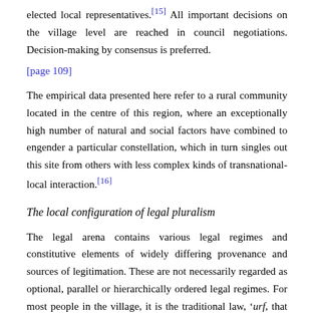elected local representatives.[15] All important decisions on the village level are reached in council negotiations. Decision-making by consensus is preferred.
[page 109]
The empirical data presented here refer to a rural community located in the centre of this region, where an exceptionally high number of natural and social factors have combined to engender a particular constellation, which in turn singles out this site from others with less complex kinds of transnational-local interaction.[16]
The local configuration of legal pluralism
The legal arena contains various legal regimes and constitutive elements of widely differing provenance and sources of legitimation. These are not necessarily regarded as optional, parallel or hierarchically ordered legal regimes. For most people in the village, it is the traditional law, 'urf, that shapes basic understanding for the construction of a local